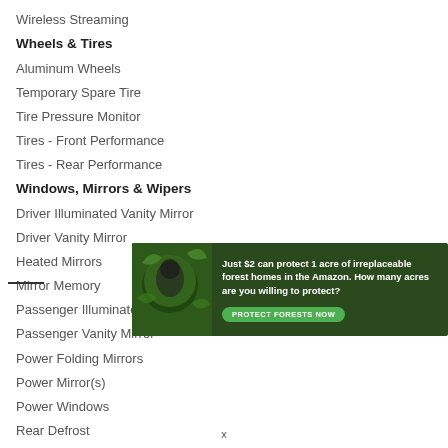Wireless Streaming
Wheels & Tires
Aluminum Wheels
Temporary Spare Tire
Tire Pressure Monitor
Tires - Front Performance
Tires - Rear Performance
Windows, Mirrors & Wipers
Driver Illuminated Vanity Mirror
Driver Vanity Mirror
Heated Mirrors
Mirror Memory
Passenger Illuminated Visor Mirror
Passenger Vanity Mirror
Power Folding Mirrors
Power Mirror(s)
Power Windows
Rear Defrost
[Figure (infographic): Advertisement banner: green forest background with animal photo. Text: 'Just $2 can protect 1 acre of irreplaceable forest homes in the Amazon. How many acres are you willing to protect?' Green button: 'PROTECT FORESTS NOW']